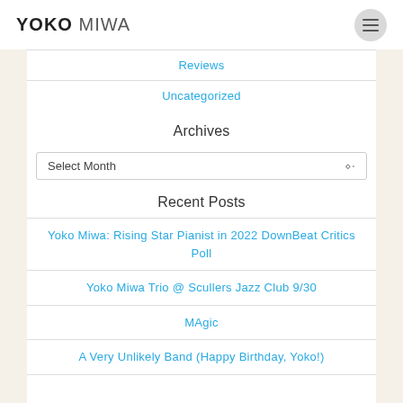YOKO MIWA
Reviews
Uncategorized
Archives
Select Month
Recent Posts
Yoko Miwa: Rising Star Pianist in 2022 DownBeat Critics Poll
Yoko Miwa Trio @ Scullers Jazz Club 9/30
MAgic
A Very Unlikely Band (Happy Birthday, Yoko!)